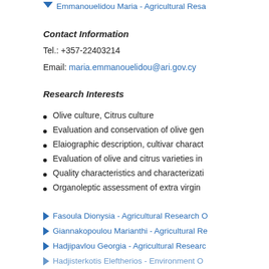Emmanouelidou Maria - Agricultural Resa...
Contact Information
Tel.: +357-22403214
Email: maria.emmanouelidou@ari.gov.cy
Research Interests
Olive culture, Citrus culture
Evaluation and conservation of olive gen...
Elaiographic description, cultivar charact...
Evaluation of olive and citrus varieties in...
Quality characteristics and characterizati...
Organoleptic assessment of extra virgin ...
Fasoula Dionysia - Agricultural Research O...
Giannakopoulou Marianthi - Agricultural R...
Hadjipavlou Georgia - Agricultural Researc...
Hadjisterkotis Eleftherios - Environment O...
Ioannides Ioannis - Senior Agricultural Res...
Ioannidou Sotiroula - Agricultural Research...
Ioannou Stavroula - Agricultural Research ...
K... - Senior Agri...